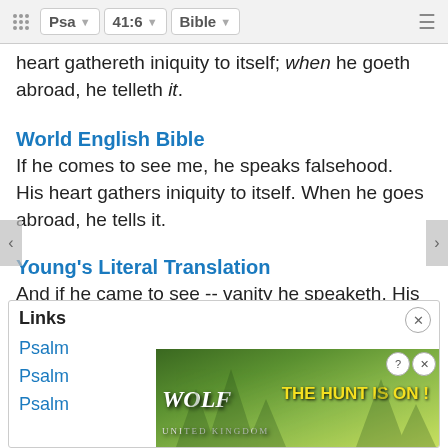Psa | 41:6 | Bible
heart gathereth iniquity to itself; when he goeth abroad, he telleth it.
World English Bible
If he comes to see me, he speaks falsehood. His heart gathers iniquity to itself. When he goes abroad, he tells it.
Young's Literal Translation
And if he came to see -- vanity he speaketh, His heart gathereth iniquity to itself, He goeth out -- at the street he speaketh.
Psalm 41:6 Additional Translations ...
Links
Psalm ...
Psalm ...
Psalm ...